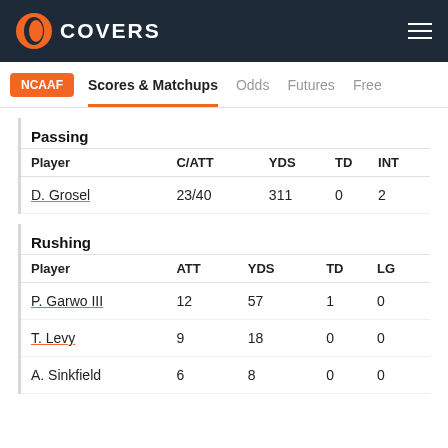COVERS
NCAAF  Scores & Matchups  Odds  Futures  Free
Passing
| Player | C/ATT | YDS | TD | INT |
| --- | --- | --- | --- | --- |
| D. Grosel | 23/40 | 311 | 0 | 2 |
Rushing
| Player | ATT | YDS | TD | LG |
| --- | --- | --- | --- | --- |
| P. Garwo III | 12 | 57 | 1 | 0 |
| T. Levy | 9 | 18 | 0 | 0 |
| A. Sinkfield | 6 | 8 | 0 | 0 |